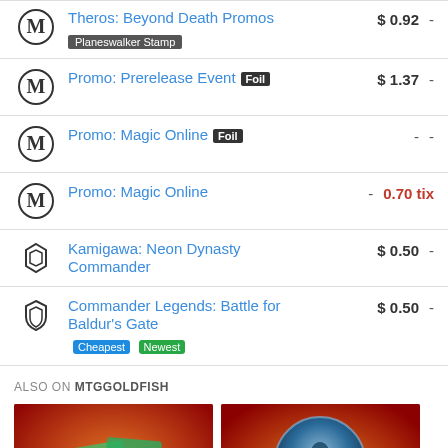Theros: Beyond Death Promos $0.92 - Planeswalker Stamp
Promo: Prerelease Event [Foil] $1.37 -
Promo: Magic Online [Foil] - -
Promo: Magic Online - 0.70 tix
Kamigawa: Neon Dynasty Commander $0.50 -
Commander Legends: Battle for Baldur's Gate [Cheapest] [Newest] $0.50 -
ALSO ON MTGGOLDFISH
[Figure (screenshot): Thumbnail 1: 'We Play Cards' article, text shows 'ago • 4 comments']
[Figure (screenshot): Thumbnail 2: 'Force of' article, text shows '9 days ago']